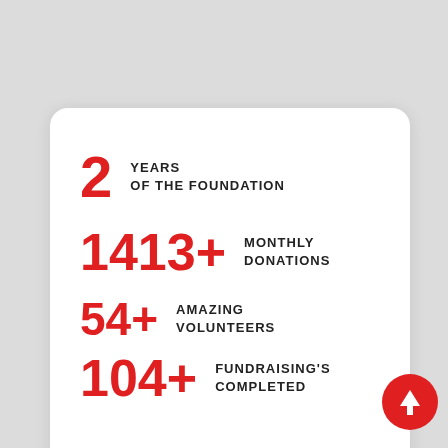2 YEARS OF THE FOUNDATION
1413+ MONTHLY DONATIONS
54+ AMAZING VOLUNTEERS
104+ FUNDRAISING'S COMPLETED